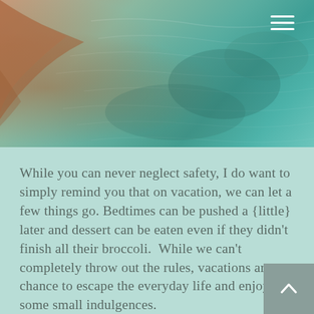[Figure (photo): Aerial or overhead photo of turquoise/teal water with a rocky shoreline visible in the upper left, showing rippling water surface details. A hamburger menu icon (three white horizontal lines) is visible in the upper right corner.]
While you can never neglect safety, I do want to simply remind you that on vacation, we can let a few things go. Bedtimes can be pushed a {little} later and dessert can be eaten even if they didn't finish all their broccoli.  While we can't completely throw out the rules, vacations are a chance to escape the everyday life and enjoy some small indulgences.
So go ahead and take a deep breathe once you arrive.  Prepare to embrace any